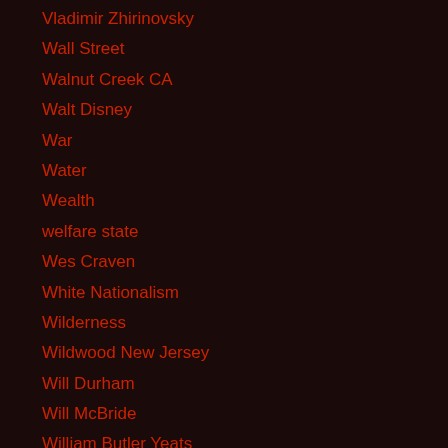Vladimir Zhirinovsky
Wall Street
Walnut Creek CA
Walt Disney
War
Water
Wealth
welfare state
Wes Craven
White Nationalism
Wilderness
Wildwood New Jersey
Will Durham
Will McBride
William Butler Yeats